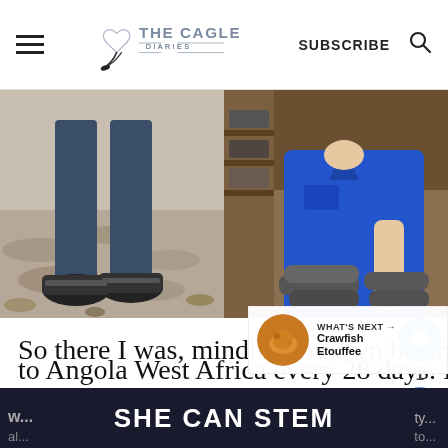THE CAGLE DIARIES | SUBSCRIBE
[Figure (photo): Left: Close-up of person's feet in sneakers standing on rocky ground. Right: Person in blue polo shirt handling dark cylindrical rolls/tubes in a warehouse.]
So there I was, minding my own business. I worked as an expat traveling from Cape Town, South Africa to Angola West Africa every 28 days. I
[Figure (infographic): What's Next panel: circular thumbnail of crawfish dish, label 'WHAT'S NEXT →', title 'Crawfish Etouffee']
SHE CAN STEM